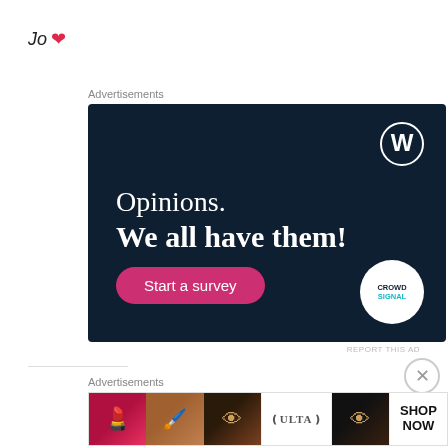Jo ❤
Advertisements
[Figure (infographic): WordPress/CrowdSignal advertisement with dark navy background. Text reads: 'Opinions. We all have them!' with a pink 'Start a survey' button and WordPress logo top right, CrowdSignal badge bottom right.]
REPORT THIS AD
Advertisements
[Figure (infographic): Beauty/makeup advertisement strip showing lipstick, brush, eye, ULTA logo, smoky eye, and SHOP NOW panel.]